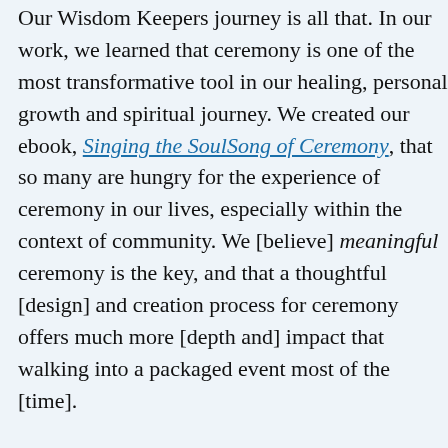Our Wisdom Keepers journey is all that. In our work, we have learned that ceremony is one of the most transformative tools in our healing, personal growth and spiritual journey. We created our ebook, Singing the SoulSong of Ceremony, [that so many are hungry for the experience of ceremony in our] lives, especially within the context of community. We [believe] meaningful ceremony is the key, and that a thoughtful [design] and creation process for ceremony offers much more [depth and] impact that walking into a packaged event most of th[e time].
For this reason, we intend to share a journey of crea[ting] celebration, community and ceremony, where all wis[dom is] honored and embraced as we discover in deeper wa[ys what we] believe (and no longer believe), who we Be and who [we are] becoming. Each of us carries a seed within, ever-ev[olving,] expanding. Our shared Wisdom Keepers Gathering [and all] aspects of the journey – offers us a spaciousness to [plant,] nurture, and grow our expanding seeds of conscious[ness and] capacities as community leaders.